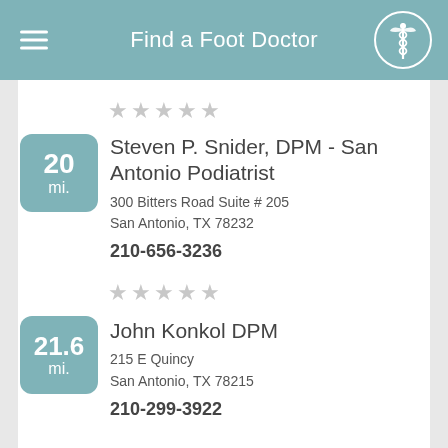Find a Foot Doctor
20 mi. Steven P. Snider, DPM - San Antonio Podiatrist
300 Bitters Road Suite # 205
San Antonio, TX 78232
210-656-3236
21.6 mi. John Konkol DPM
215 E Quincy
San Antonio, TX 78215
210-299-3922